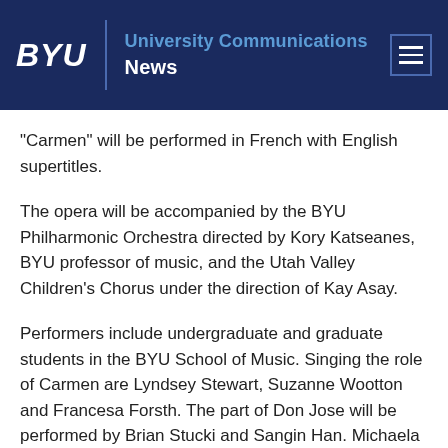BYU | University Communications News
"Carmen" will be performed in French with English supertitles.
The opera will be accompanied by the BYU Philharmonic Orchestra directed by Kory Katseanes, BYU professor of music, and the Utah Valley Children's Chorus under the direction of Kay Asay.
Performers include undergraduate and graduate students in the BYU School of Music. Singing the role of Carmen are Lyndsey Stewart, Suzanne Wootton and Francesa Forsth. The part of Don Jose will be performed by Brian Stucki and Sangin Han. Michaela will be performed by Kara Brandt and Michelle Scott.